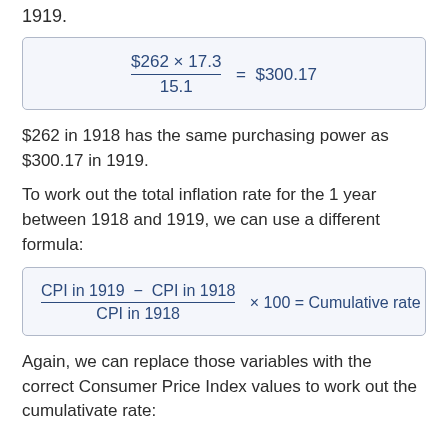1919.
$262 in 1918 has the same purchasing power as $300.17 in 1919.
To work out the total inflation rate for the 1 year between 1918 and 1919, we can use a different formula:
Again, we can replace those variables with the correct Consumer Price Index values to work out the cumulativate rate: